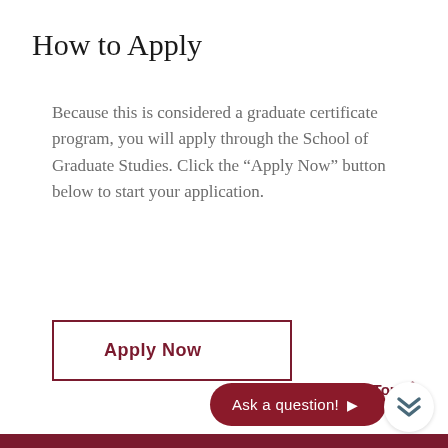How to Apply
Because this is considered a graduate certificate program, you will apply through the School of Graduate Studies. Click the “Apply Now” button below to start your application.
Apply Now
Back to Top
Ask a question!